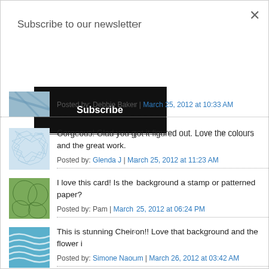Subscribe to our newsletter
Subscribe
Posted by: Debbie Baker | March 25, 2012 at 10:33 AM
Gorgeous! Glad you got it figured out. Love the colours and the great work.
Posted by: Glenda J | March 25, 2012 at 11:23 AM
I love this card! Is the background a stamp or patterned paper?
Posted by: Pam | March 25, 2012 at 06:24 PM
This is stunning Cheiron!! Love that background and the flower i
Posted by: Simone Naoum | March 26, 2012 at 03:42 AM
Elegance is an understatement here, Cheiron. This is amazing